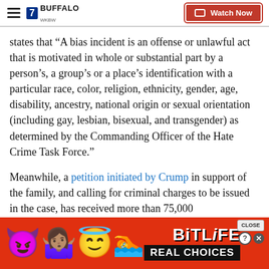7 BUFFALO | Watch Now
states that “A bias incident is an offense or unlawful act that is motivated in whole or substantial part by a person’s, a group’s or a place’s identification with a particular race, color, religion, ethnicity, gender, age, disability, ancestry, national origin or sexual orientation (including gay, lesbian, bisexual, and transgender) as determined by the Commanding Officer of the Hate Crime Task Force.”
Meanwhile, a petition initiated by Crump in support of the family, and calling for criminal charges to be issued in the case, has received more than 75,000
[Figure (other): BitLife mobile game advertisement banner with emojis (devil, woman shrugging, angel, sperm) on red background with 'BitLife REAL CHOICES' text]